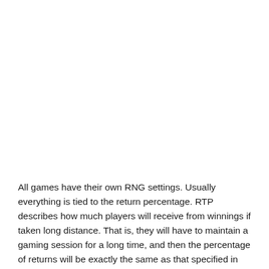All games have their own RNG settings. Usually everything is tied to the return percentage. RTP describes how much players will receive from winnings if taken long distance. That is, they will have to maintain a gaming session for a long time, and then the percentage of returns will be exactly the same as that specified in the best free casino app. If the return is 90%, then the gamer will receive exactly that many payments, but if he plays for a long